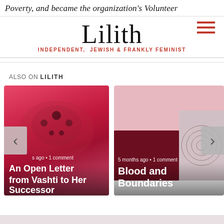Poverty, and became the organization's Volunteer
Lilith
INDEPENDENT, JEWISH & FRANKLY FEMINIST
ALSO ON LILITH
[Figure (photo): Article card: jeweled crown on pink/red background. Text overlay: 'An Open Letter from Vashti to Her Successor'. Meta: '5 months ago • 1 comment'. Navigation arrows visible.]
[Figure (photo): Article card: dark crimson abstract shape and circular diagram on pink background. Text overlay: 'Blood and Boundaries'. Meta: '5 months ago • 1 comment'. Navigation arrow visible.]